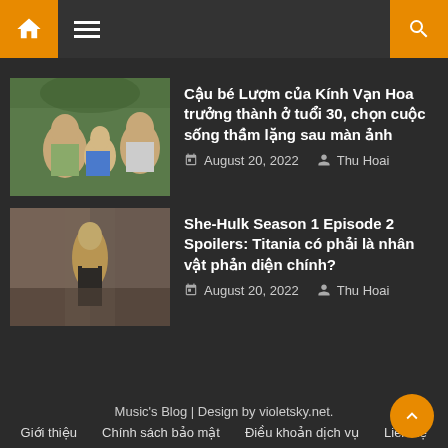Navigation header with home icon, menu, and search
Cậu bé Lượm của Kính Vạn Hoa trưởng thành ở tuổi 30, chọn cuộc sống thầm lặng sau màn ảnh
August 20, 2022   Thu Hoai
She-Hulk Season 1 Episode 2 Spoilers: Titania có phải là nhân vật phản diện chính?
August 20, 2022   Thu Hoai
Music's Blog | Design by violetsky.net.
Giới thiệu   Chính sách bảo mật   Điều khoản dịch vụ   Liên hệ